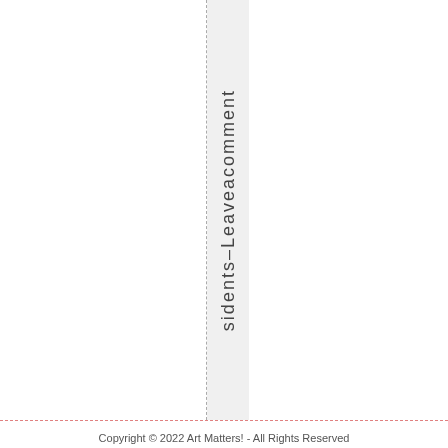sidents–Leaveacomment
Copyright © 2022 Art Matters! - All Rights Reserved